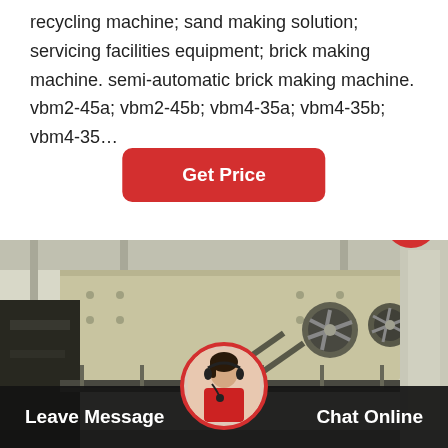recycling machine; sand making solution; servicing facilities equipment; brick making machine. semi-automatic brick making machine. vbm2-45a; vbm2-45b; vbm4-35a; vbm4-35b; vbm4-35…
Get Price
[Figure (photo): Industrial machine equipment in a factory setting — large yellow/beige industrial vibrating screen or processing machine with black metal frames, stairs/railings, and fan units mounted on the side, inside a bright industrial building.]
Leave Message
Chat Online